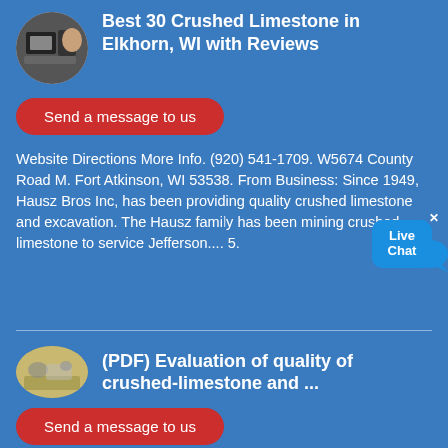Best 30 Crushed Limestone in Elkhorn, WI with Reviews
[Figure (photo): Circular thumbnail image of crushed limestone equipment]
Send a message to us
Website Directions More Info. (920) 541-1709. W5674 County Road M. Fort Atkinson, WI 53538. From Business: Since 1949, Hausz Bros Inc, has been providing quality crushed limestone and excavation. The Hausz family has been mining crushed limestone to service Jefferson.... 5.
(PDF) Evaluation of quality of crushed-limestone and ...
[Figure (photo): Oval thumbnail image of crushed limestone quarry site]
Send a message to us
Khanal and Tamrakar (2009) studied LAA of crushed limestone and siltstone, and